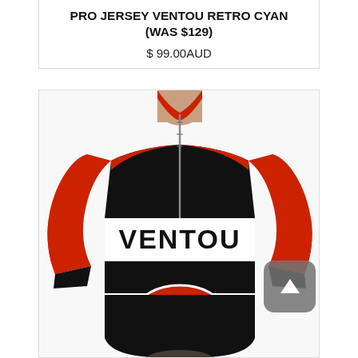PRO JERSEY VENTOU RETRO CYAN (WAS $129)
$ 99.00AUD
[Figure (photo): A man wearing a Ventou cycling jersey in black, red/orange, and white. The jersey has a full front zipper, raglan sleeves in red/orange, a white chest band with 'VENTOU' text in black, a center black band, and an oval Ventou logo at the lower center. A grey scroll-to-top button overlay is in the bottom right corner.]